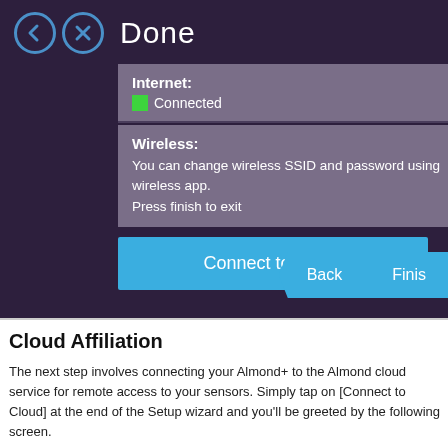[Figure (screenshot): A touchscreen UI showing a 'Done' screen with Internet Connected status, Wireless instructions, a 'Connect to Cloud' button, and Back/Finish navigation buttons on a dark purple background.]
Cloud Affiliation
The next step involves connecting your Almond+ to the Almond cloud service for remote access to your sensors. Simply tap on [Connect to Cloud] at the end of the Setup wizard and you'll be greeted by the following screen.